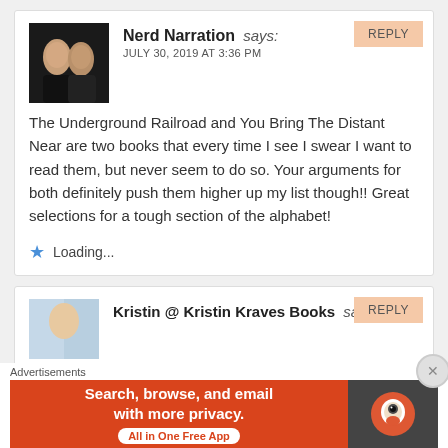REPLY
Nerd Narration says:
JULY 30, 2019 AT 3:36 PM
The Underground Railroad and You Bring The Distant Near are two books that every time I see I swear I want to read them, but never seem to do so. Your arguments for both definitely push them higher up my list though!! Great selections for a tough section of the alphabet!
Loading...
REPLY
Kristin @ Kristin Kraves Books says:
Advertisements
Search, browse, and email with more privacy. All in One Free App